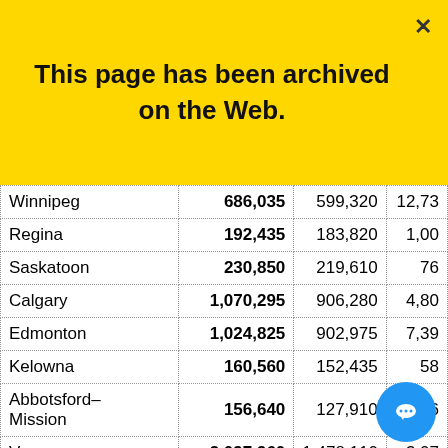This page has been archived on the Web.
| City | 2006 | 2001 | ... |
| --- | --- | --- | --- |
| Winnipeg | 686,035 | 599,320 | 12,73... |
| Regina | 192,435 | 183,820 | 1,00... |
| Saskatoon | 230,850 | 219,610 | 76... |
| Calgary | 1,070,295 | 906,280 | 4,80... |
| Edmonton | 1,024,825 | 902,975 | 7,39... |
| Kelowna | 160,560 | 152,435 | 58... |
| Abbotsford–Mission | 156,640 | 127,910 | 46... |
| Vancouver | 2,097,960 | 1,478,110 | 3,07... |